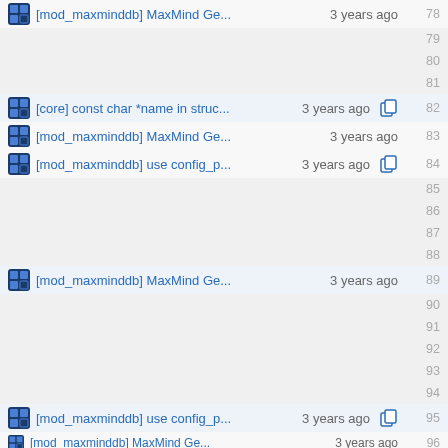[mod_maxminddb] MaxMind Ge... 3 years ago — 78
79
80
81
[core] const char *name in struc... 3 years ago — 82
[mod_maxminddb] MaxMind Ge... 3 years ago — 83
[mod_maxminddb] use config_p... 3 years ago — 84
85
86
87
88
[mod_maxminddb] MaxMind Ge... 3 years ago — 89
90
91
92
93
94
[mod_maxminddb] use config_p... 3 years ago — 95
[mod_maxminddb] MaxMind Ge... 3 years ago — 96
97
98
99